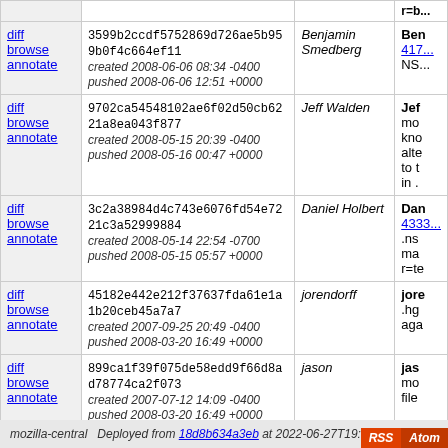| links | changeset | author | description |
| --- | --- | --- | --- |
| diff browse annotate | 3599b2ccdf5752869d726ae5b959b0f4c664ef11
created 2008-06-06 08:34 -0400
pushed 2008-06-06 12:51 +0000 | Benjamin Smedberg | Ben 417... NS... |
| diff browse annotate | 9702ca54548102ae6f02d50cb6221a8ea043f877
created 2008-05-15 20:39 -0400
pushed 2008-05-16 00:47 +0000 | Jeff Walden | Jef mo kno alte to t in . |
| diff browse annotate | 3c2a38984d4c743e6076fd54e7221c3a52999884
created 2008-05-14 22:54 -0700
pushed 2008-05-15 05:57 +0000 | Daniel Holbert | Dan 4333 .ns ma r=te |
| diff browse annotate | 45182e442e212f37637fda61e1a1b20ceb45a7a7
created 2007-09-25 20:49 -0400
pushed 2008-03-20 16:49 +0000 | jorendorff | jore .hg aga |
| diff browse annotate | 899ca1f39f075de58edd9f66d8ad78774ca2f073
created 2007-07-12 14:09 -0400
pushed 2008-03-20 16:49 +0000 | jason | jas mo file |
| diff browse annotate | 8ba995b74e18334ab3707f27e9eb8f4e37ba3d29
created 2007-03-22 10:29 -0700
pushed 2008-03-20 16:49 +0000 | hg | hg ign |
less more (0) tip
mozilla-central Deployed from 18d8b634a3eb at 2022-06-27T19:41:42Z.